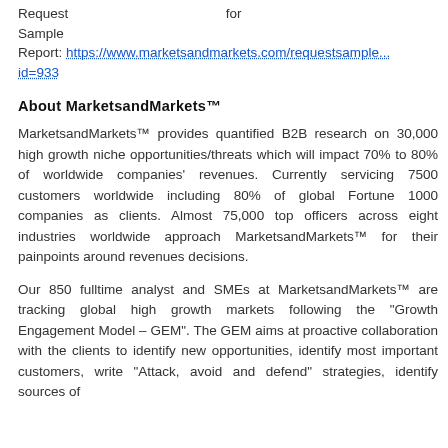Request for Sample Report: https://www.marketsandmarkets.com/requestsample...id=933
About MarketsandMarkets™
MarketsandMarkets™ provides quantified B2B research on 30,000 high growth niche opportunities/threats which will impact 70% to 80% of worldwide companies' revenues. Currently servicing 7500 customers worldwide including 80% of global Fortune 1000 companies as clients. Almost 75,000 top officers across eight industries worldwide approach MarketsandMarkets™ for their painpoints around revenues decisions.
Our 850 fulltime analyst and SMEs at MarketsandMarkets™ are tracking global high growth markets following the "Growth Engagement Model – GEM". The GEM aims at proactive collaboration with the clients to identify new opportunities, identify most important customers, write "Attack, avoid and defend" strategies, identify sources of